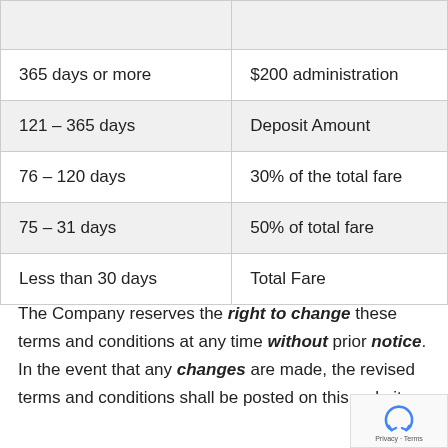| Days Before Departure | Cancellation Fee |
| --- | --- |
| 365 days or more | $200 administration |
| 121 – 365 days | Deposit Amount |
| 76 – 120 days | 30% of the total fare |
| 75 – 31 days | 50% of total fare |
| Less than 30 days | Total Fare |
The Company reserves the right to change these terms and conditions at any time without prior notice. In the event that any changes are made, the revised terms and conditions shall be posted on this website